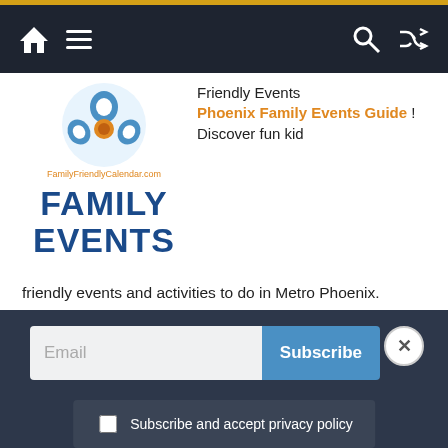Navigation bar with home icon, menu icon, search icon, shuffle icon
[Figure (logo): Family Friendly Calendar.com Family Events logo with blue and orange circular icon above blue bold text FAMILY EVENTS]
Friendly Events Phoenix Family Events Guide ! Discover fun kid friendly events and activities to do in Metro Phoenix.
See the FREE Kids events guide for free fun indoor and outdoor kid friendly events on the weekend and on the weekdays in Metro Phoenix: free movies, crafts and more!)
Email Subscribe
Subscribe and accept privacy policy